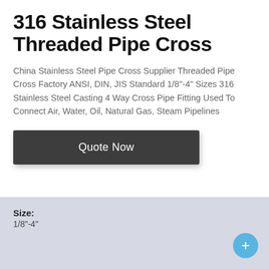316 Stainless Steel Threaded Pipe Cross
China Stainless Steel Pipe Cross Supplier Threaded Pipe Cross Factory ANSI, DIN, JIS Standard 1/8"-4" Sizes 316 Stainless Steel Casting 4 Way Cross Pipe Fitting Used To Connect Air, Water, Oil, Natural Gas, Steam Pipelines
[Figure (other): Dark gray rounded rectangle button with white text reading 'Quote Now']
Size:
1/8"-4"